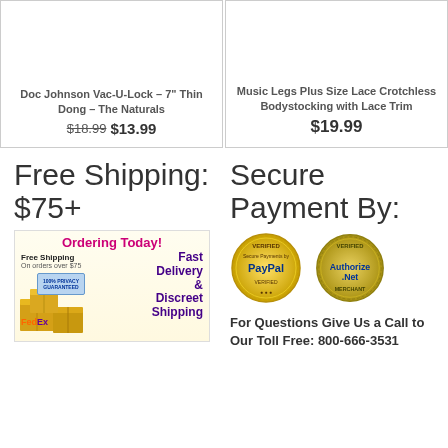Doc Johnson Vac-U-Lock – 7" Thin Dong – The Naturals
$18.99 $13.99
Music Legs Plus Size Lace Crotchless Bodystocking with Lace Trim
$19.99
Free Shipping: $75+
Secure Payment By:
[Figure (infographic): Ordering Today! Free Shipping on orders over $75 Fast Delivery & Discreet Shipping FedEx banner with boxes]
[Figure (infographic): PayPal Verified seal and Authorize.Net Verified Merchant seal]
For Questions Give Us a Call to Our Toll Free: 800-666-3531